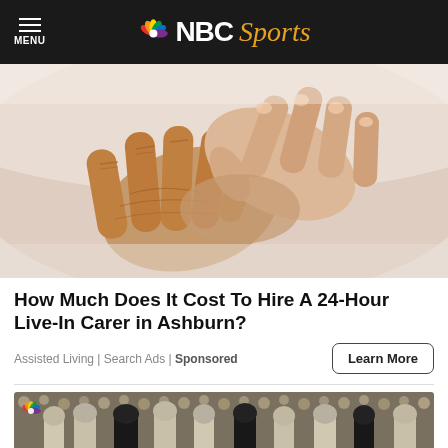NBC Sports
[Figure (photo): Two hands clasped together — an elderly wrinkled hand held by a younger smooth hand, suggesting caregiving or assistance.]
How Much Does It Cost To Hire A 24-Hour Live-In Carer in Ashburn?
Assisted Living | Search Ads | Sponsored
[Figure (photo): Partial view of American football players on field with NBC Sports peacock logo watermark, crowd visible in background.]